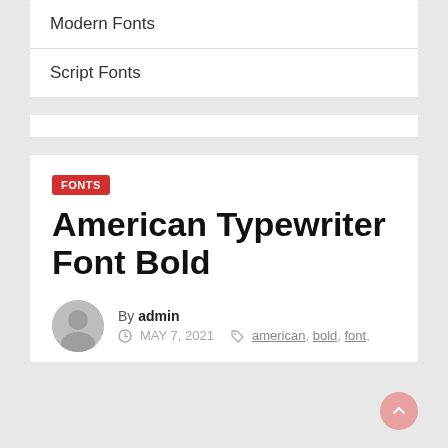Modern Fonts
Script Fonts
FONTS
American Typewriter Font Bold
By admin
MAY 7, 2021  american, bold, font,